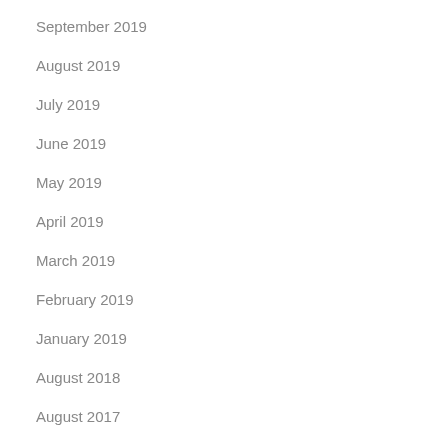September 2019
August 2019
July 2019
June 2019
May 2019
April 2019
March 2019
February 2019
January 2019
August 2018
August 2017